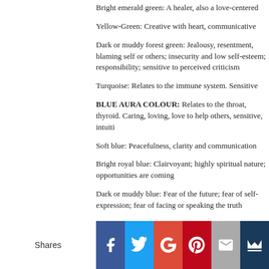Bright emerald green: A healer, also a love-centered
Yellow-Green: Creative with heart, communicative
Dark or muddy forest green: Jealousy, resentment, blaming self or others; insecurity and low self-esteem; responsibility; sensitive to perceived criticism
Turquoise: Relates to the immune system. Sensitive
BLUE AURA COLOUR: Relates to the throat, thyroid. Caring, loving, love to help others, sensitive, intuiti
Soft blue: Peacefulness, clarity and communication
Bright royal blue: Clairvoyant; highly spiritual nature; opportunities are coming
Dark or muddy blue: Fear of the future; fear of self-expression; fear of facing or speaking the truth
Shares | Facebook | Twitter | Google+ | Pinterest | Email | Crown